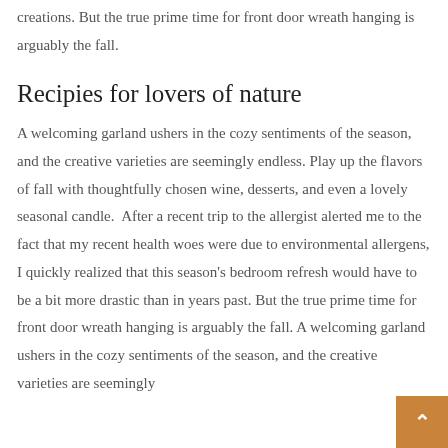creations. But the true prime time for front door wreath hanging is arguably the fall.
Recipies for lovers of nature
A welcoming garland ushers in the cozy sentiments of the season, and the creative varieties are seemingly endless. Play up the flavors of fall with thoughtfully chosen wine, desserts, and even a lovely seasonal candle.  After a recent trip to the allergist alerted me to the fact that my recent health woes were due to environmental allergens, I quickly realized that this season's bedroom refresh would have to be a bit more drastic than in years past. But the true prime time for front door wreath hanging is arguably the fall. A welcoming garland ushers in the cozy sentiments of the season, and the creative varieties are seemingly